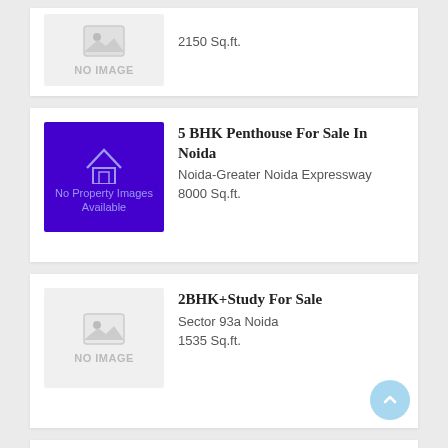[Figure (other): Property placeholder image with NO IMAGE label, showing 2150 Sq.ft listing (partial top card)]
2150 Sq.ft.
[Figure (other): Purple placeholder image with house icon and No Property Images Available text]
5 BHK Penthouse For Sale In Noida
Noida-Greater Noida Expressway
8000 Sq.ft.
[Figure (other): Gray placeholder image with NO IMAGE label]
2BHK+Study For Sale
Sector 93a Noida
1535 Sq.ft.
[Figure (other): Gray placeholder image with NO IMAGE label]
3 BHK Flat For Sale At Noida
Sector 93a Noida
1625 Sq.ft.